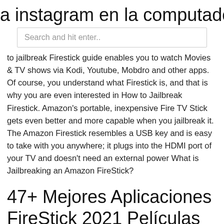a instagram en la computadora de la
[Figure (screenshot): Search bar with placeholder text 'Search and hit enter..']
to jailbreak Firestick guide enables you to watch Movies & TV shows via Kodi, Youtube, Mobdro and other apps. Of course, you understand what Firestick is, and that is why you are even interested in How to Jailbreak Firestick. Amazon's portable, inexpensive Fire TV Stick gets even better and more capable when you jailbreak it. The Amazon Firestick resembles a USB key and is easy to take with you anywhere; it plugs into the HDMI port of your TV and doesn't need an external power What is Jailbreaking an Amazon FireStick?
47+ Mejores Aplicaciones FireStick 2021 Películas gratis, TV .
— tener una VPN en su Amazon Fire TV Stick o TV. desde la tienda de aplicaciones de Amazon Si desea usar Kodi en su Fire TV Stick (a veces denominado "jailbreak"). El Fire TV